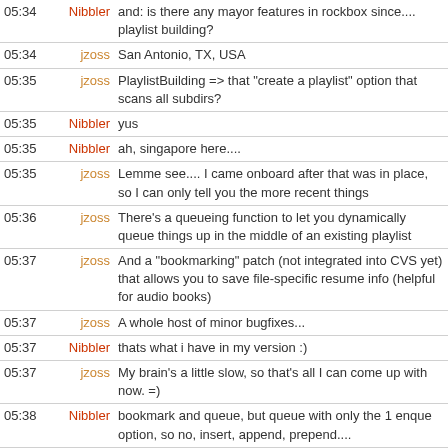| Time | Nick | Message |
| --- | --- | --- |
| 05:34 | Nibbler | and: is there any mayor features in rockbox since.... playlist building? |
| 05:34 | jzoss | San Antonio, TX, USA |
| 05:35 | jzoss | PlaylistBuilding => that "create a playlist" option that scans all subdirs? |
| 05:35 | Nibbler | yus |
| 05:35 | Nibbler | ah, singapore here.... |
| 05:35 | jzoss | Lemme see.... I came onboard after that was in place, so I can only tell you the more recent things |
| 05:36 | jzoss | There's a queueing function to let you dynamically queue things up in the middle of an existing playlist |
| 05:37 | jzoss | And a "bookmarking" patch (not integrated into CVS yet) that allows you to save file-specific resume info (helpful for audio books) |
| 05:37 | jzoss | A whole host of minor bugfixes... |
| 05:37 | Nibbler | thats what i have in my version :) |
| 05:37 | jzoss | My brain's a little slow, so that's all I can come up with now. =) |
| 05:38 | Nibbler | bookmark and queue, but queue with only the 1 enque option, so no, insert, append, prepend.... |
| 05:38 | jzoss | right |
| 05:38 | Nibbler | ok, then im enough up-to-date |
| 05:38 | Nibbler | :) |
| 05:38 | jzoss | I'm working on an ID3 patch and another for custom filenaming for recording files |